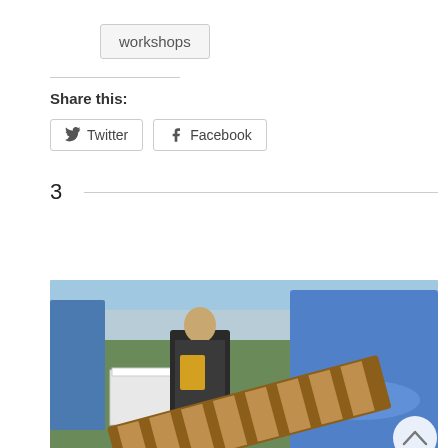workshops
Share this:
Twitter
Facebook
3
[Figure (photo): Outdoor event scene showing people at tables and a person in a blue shirt holding a wooden board with a striped pattern. There is a scroll-to-top button in the lower right.]